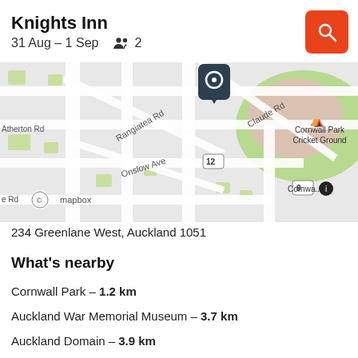Knights Inn
31 Aug – 1 Sep    2
[Figure (map): Street map showing area around Knights Inn in Auckland, with roads including Rangiatea Rd, Claude Rd, Onslow Ave, and landmarks Cornwall Park Cricket Ground. A location pin is shown at the top center. Mapbox attribution visible.]
234 Greenlane West, Auckland 1051
What's nearby
Cornwall Park – 1.2 km
Auckland War Memorial Museum – 3.7 km
Auckland Domain – 3.9 km
Aotea Square – 4.7 km